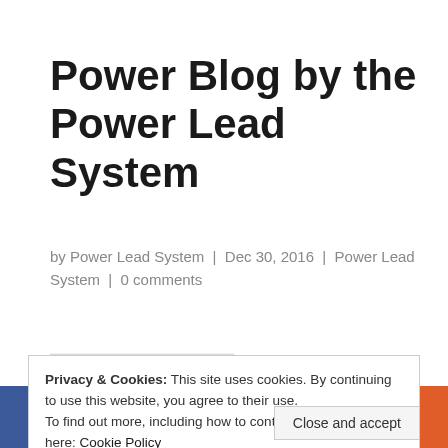Power Blog by the Power Lead System
by Power Lead System | Dec 30, 2016 | Power Lead System | 0 comments
Privacy & Cookies: This site uses cookies. By continuing to use this website, you agree to their use.
To find out more, including how to control cookies, see here: Cookie Policy
Close and accept